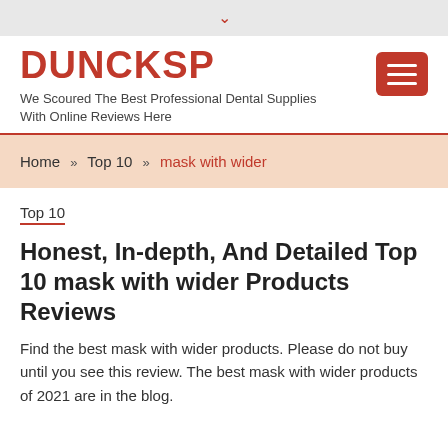▾
DUNCKSP
We Scoured The Best Professional Dental Supplies With Online Reviews Here
Home » Top 10 » mask with wider
Top 10
Honest, In-depth, And Detailed Top 10 mask with wider Products Reviews
Find the best mask with wider products. Please do not buy until you see this review. The best mask with wider products of 2021 are in the blog.